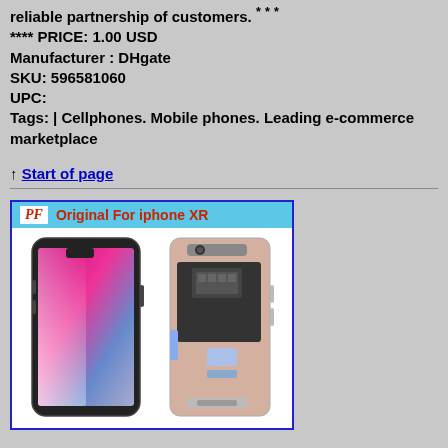reliable partnership of customers. * * *
**** PRICE: 1.00 USD
Manufacturer : DHgate
SKU: 596581060
UPC:
Tags: | Cellphones. Mobile phones. Leading e-commerce marketplace
↑ Start of page
[Figure (photo): Product image showing iPhone XR with 'PF Original For iPhone XR' banner. Shows two views: front view of an iPhone with colorful display, and back/disassembled view showing the LCD panel with flex cables. Blue border frame.]